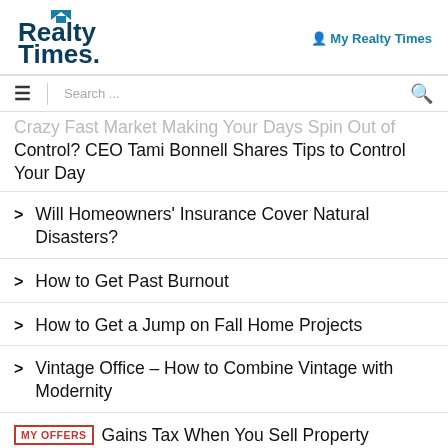[Figure (logo): Realty Times logo with house icon above text]
My Realty Times
≡  Search ...  🔍
Crazy Fast Market Making Your Days Spin Out of Control? CEO Tami Bonnell Shares Tips to Control Your Day
Will Homeowners' Insurance Cover Natural Disasters?
How to Get Past Burnout
How to Get a Jump on Fall Home Projects
Vintage Office – How to Combine Vintage with Modernity
MY OFFERS  Gains Tax When You Sell Property